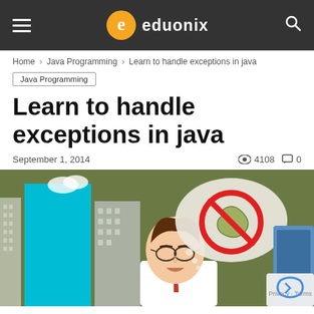eduonix
Home › Java Programming › Learn to handle exceptions in java
Java Programming
Learn to handle exceptions in java
September 1, 2014  👁 4108  💬 0
[Figure (illustration): Cartoon illustration of a man in glasses at a computer, with a thought bubble showing a no-bugs sign (snake in a red circle with a line through it), set against a city background.]